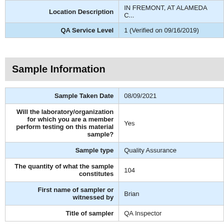| Field | Value |
| --- | --- |
| Location Description | IN FREMONT, AT ALAMEDA C... |
| QA Service Level | 1 (Verified on 09/16/2019) |
Sample Information
| Field | Value |
| --- | --- |
| Sample Taken Date | 08/09/2021 |
| Will the laboratory/organization for which you are a member perform testing on this material sample? | Yes |
| Sample type | Quality Assurance |
| The quantity of what the sample constitutes | 104 |
| First name of sampler or witnessed by | Brian |
| Title of sampler | QA Inspector |